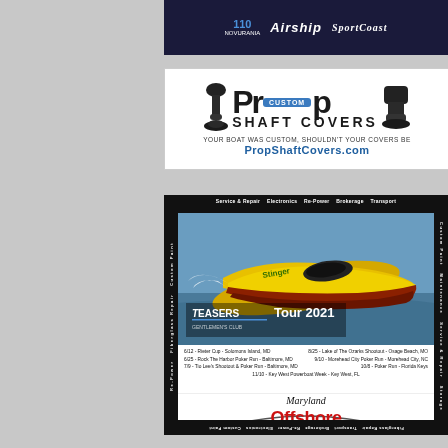[Figure (logo): Top banner ad with Novurania, Airship, and Speedcoast logos on dark navy background]
[Figure (illustration): Prop Custom Shaft Covers advertisement with boat motor images, large PROP text with CUSTOM badge, SHAFT COVERS text, tagline YOUR BOAT WAS CUSTOM, SHOULDN'T YOUR COVERS BE, and URL PropShaftCovers.com]
[Figure (photo): Maryland Offshore Marine Center advertisement featuring yellow powerboat (Teasers Tour 2021), race schedule, phone number 301-294-5936, address 235a Derwood Circle Rockville MD 20850, and slogan YOUR 1-STOP SHOP]